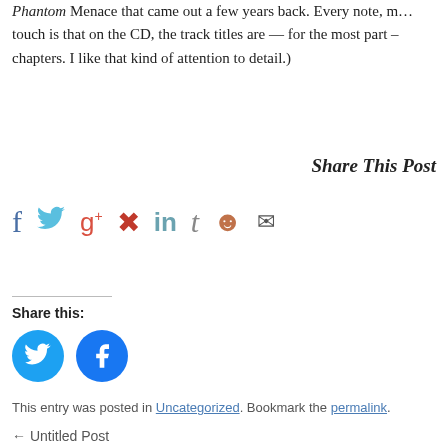Phantom Menace that came out a few years back. Every note, m… touch is that on the CD, the track titles are — for the most part – chapters. I like that kind of attention to detail.)
Share This Post
[Figure (infographic): Row of social media sharing icons: Facebook (f), Twitter (bird), Google+ (g+), Pinterest (p), LinkedIn (in), Tumblr (t), Reddit (alien), Email (envelope)]
Share this:
[Figure (infographic): Two circular social sharing buttons: Twitter (blue circle with bird icon) and Facebook (blue circle with f icon)]
This entry was posted in Uncategorized. Bookmark the permalink.
← Untitled Post